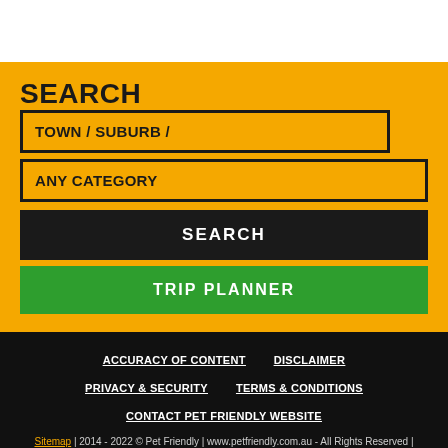SEARCH
TOWN / SUBURB /
ANY CATEGORY
SEARCH
TRIP PLANNER
ACCURACY OF CONTENT
DISCLAIMER
PRIVACY & SECURITY
TERMS & CONDITIONS
CONTACT PET FRIENDLY WEBSITE
Sitemap | 2014 - 2022 © Pet Friendly | www.petfriendly.com.au - All Rights Reserved | Design by UBC Web Design